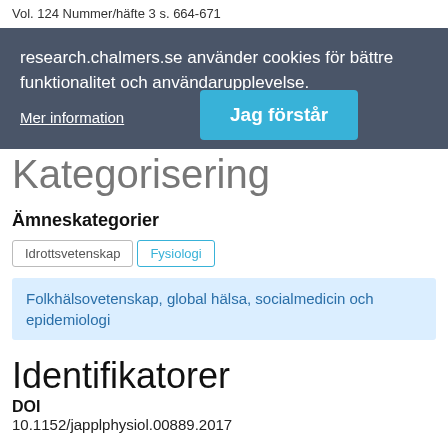Vol. 124 Nummer/häfte 3 s. 664-671
research.chalmers.se använder cookies för bättre funktionalitet och användarupplevelse.
Mer information
Jag förstår
Kategorisering
Ämneskategorier
Idrottsvetenskap
Fysiologi
Folkhälsovetenskap, global hälsa, socialmedicin och epidemiologi
Identifikatorer
DOI
10.1152/japplphysiol.00889.2017
Publikationsdata kopplat till DOI
Mer information